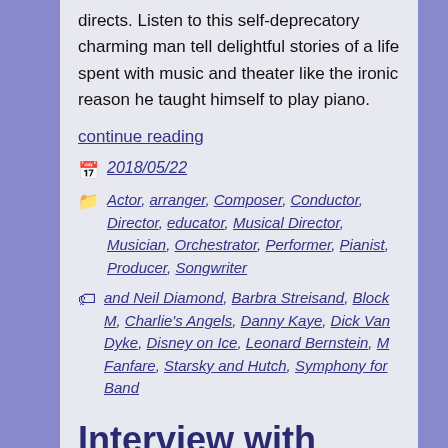directs. Listen to this self-deprecatory charming man tell delightful stories of a life spent with music and theater like the ironic reason he taught himself to play piano.
continue reading
2018/05/22
Actor, arranger, Composer, Conductor, Director, educator, Musical Director, Musician, Orchestrator, Performer, Pianist, Producer, Songwriter
and Neil Diamond, Barbra Streisand, Block M, Charlie's Angels, Danny Kaye, Dick Van Dyke, Disney on Ice, Leonard Bernstein, M Fanfare, Starsky and Hutch, Symphony for Band
Interview with Actor Joe Casey